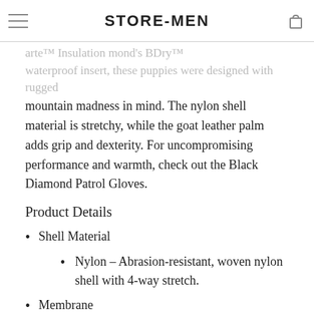STORE-MEN
quarter insulation ... waterproof insert, these puppies were designed with rugged mountain madness in mind. The nylon shell material is stretchy, while the goat leather palm adds grip and dexterity. For uncompromising performance and warmth, check out the Black Diamond Patrol Gloves.
Product Details
Shell Material
Nylon – Abrasion-resistant, woven nylon shell with 4-way stretch.
Membrane
BD.dry™ Insert – 4-Way Stretch 2.5 Layer Fabric. 10k / 10k Waterproofing and Breathability